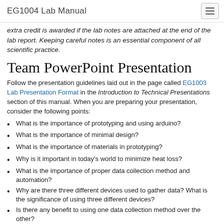EG1004 Lab Manual
extra credit is awarded if the lab notes are attached at the end of the lab report. Keeping careful notes is an essential component of all scientific practice.
Team PowerPoint Presentation
Follow the presentation guidelines laid out in the page called EG1003 Lab Presentation Format in the Introduction to Technical Presentations section of this manual. When you are preparing your presentation, consider the following points:
What is the importance of prototyping and using arduino?
What is the importance of minimal design?
What is the importance of materials in prototyping?
Why is it important in today's world to minimize heat loss?
What is the importance of proper data collection method and automation?
Why are there three different devices used to gather data? What is the significance of using three different devices?
Is there any benefit to using one data collection method over the other?